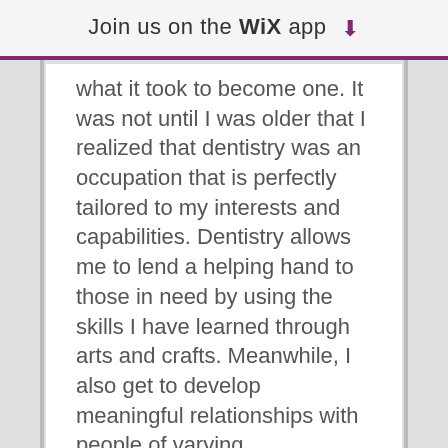Join us on the WiX app ⬇
what it took to become one. It was not until I was older that I realized that dentistry was an occupation that is perfectly tailored to my interests and capabilities. Dentistry allows me to lend a helping hand to those in need by using the skills I have learned through arts and crafts. Meanwhile, I also get to develop meaningful relationships with people of varying backgrounds!
When I am not busy with school and extra